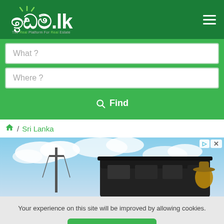ඉඩම්.lk — The Real Platform For Real Estate
What ?
Where ?
Find
/ Sri Lanka
[Figure (photo): Advertisement banner showing a modern building with a person in a cowboy hat against a cloudy sky]
Your experience on this site will be improved by allowing cookies.
Allow cookies